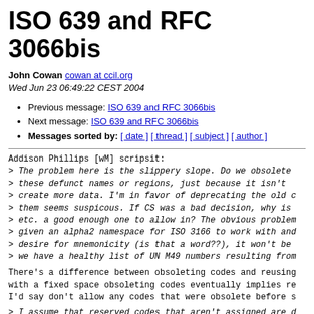ISO 639 and RFC 3066bis
John Cowan cowan at ccil.org
Wed Jun 23 06:49:22 CEST 2004
Previous message: ISO 639 and RFC 3066bis
Next message: ISO 639 and RFC 3066bis
Messages sorted by: [ date ] [ thread ] [ subject ] [ author ]
Addison Phillips [wM] scripsit:
> The problem here is the slippery slope. Do we obsolete
> these defunct names or regions, just because it isn't
> create more data. I'm in favor of deprecating the old
> them seems suspicous. If CS was a bad decision, why is
> etc. a good enough one to allow in? The obvious problem
> given an alpha2 namespace for ISO 3166 to work with and
> desire for mnemonicity (is that a word??), it won't be
> we have a healthy list of UN M49 numbers resulting from
There's a difference between obsoleting codes and reusing
with a fixed space obsoleting codes eventually implies re
I'd say don't allow any codes that were obsolete before s
> I assume that reserved codes that aren't assigned are d
> not assigned (and thus banned).